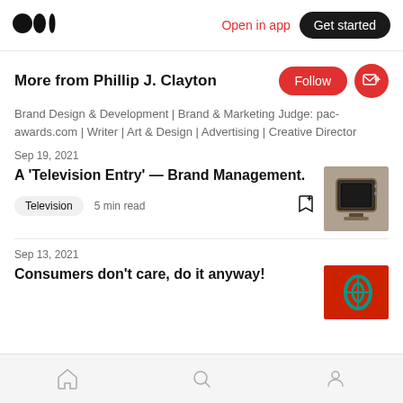Open in app | Get started
More from Phillip J. Clayton
Brand Design & Development | Brand & Marketing Judge: pac-awards.com | Writer | Art & Design | Advertising | Creative Director
Sep 19, 2021
A ‘Television Entry’ — Brand Management.
[Figure (photo): Thumbnail image of an old vintage television set]
Television   5 min read
Sep 13, 2021
Consumers don’t care, do it anyway!
[Figure (photo): Thumbnail image with red background and teal design]
Home | Search | Profile